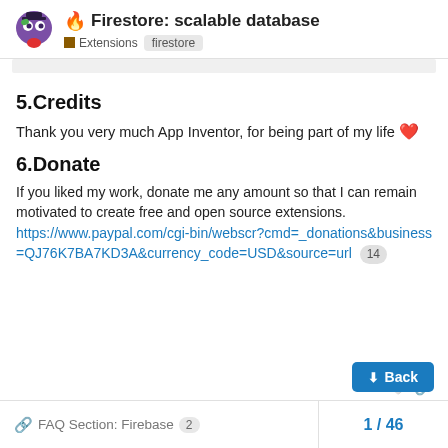Firestore: scalable database | Extensions | firestore
5.Credits
Thank you very much App Inventor, for being part of my life ❤
6.Donate
If you liked my work, donate me any amount so that I can remain motivated to create free and open source extensions. https://www.paypal.com/cgi-bin/webscr?cmd=_donations&business=QJ76K7BA7KD3A&currency_code=USD&source=url 14
FAQ Section: Firebase 2   1 / 46